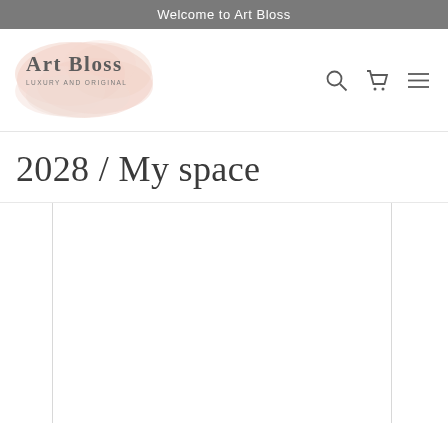Welcome to Art Bloss
[Figure (logo): Art Bloss logo with pink watercolor blob background, text reads ART BLOSS LUXURY AND ORIGINAL]
2028 / My space
[Figure (other): Product image cards partially visible — white rectangular cards with borders arranged in a grid row, image content is blank/white]